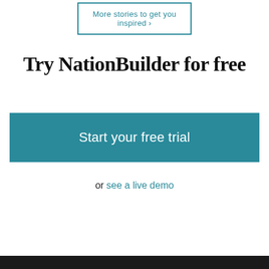More stories to get you inspired ›
Try NationBuilder for free
Start your free trial
or see a live demo